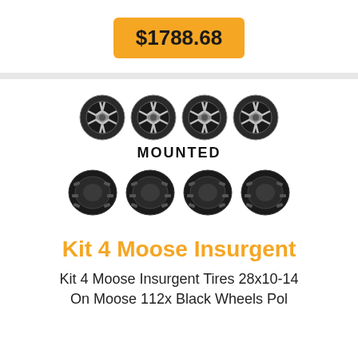$1788.68
[Figure (photo): Four black alloy wheels shown in a row above text MOUNTED, then four off-road tires shown in a row below.]
Kit 4 Moose Insurgent
Kit 4 Moose Insurgent Tires 28x10-14 On Moose 112x Black Wheels Pol